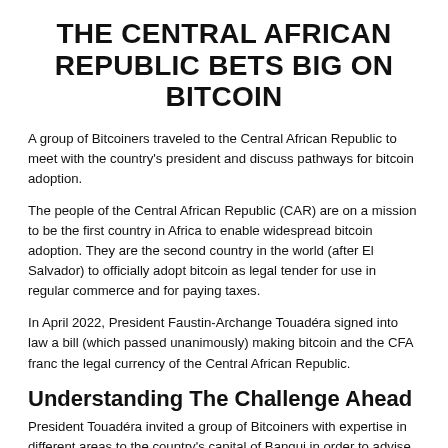THE CENTRAL AFRICAN REPUBLIC BETS BIG ON BITCOIN
A group of Bitcoiners traveled to the Central African Republic to meet with the country's president and discuss pathways for bitcoin adoption.
The people of the Central African Republic (CAR) are on a mission to be the first country in Africa to enable widespread bitcoin adoption. They are the second country in the world (after El Salvador) to officially adopt bitcoin as legal tender for use in regular commerce and for paying taxes.
In April 2022, President Faustin-Archange Touadéra signed into law a bill (which passed unanimously) making bitcoin and the CFA franc the legal currency of the Central African Republic.
Understanding The Challenge Ahead
President Touadéra invited a group of Bitcoiners with expertise in different areas to the country's capital of Bangui in order to advise the country on issues like setting up internet access, connecting to the Lightning Network and developing mining facilities.